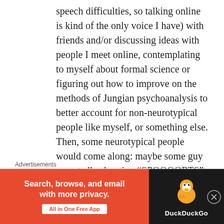speech difficulties, so talking online is kind of the only voice I have) with friends and/or discussing ideas with people I meet online, contemplating to myself about formal science or figuring out how to improve on the methods of Jungian psychoanalysis to better account for non-neurotypical people like myself, or something else. Then, some neurotypical people would come along: maybe some guy repeatedly shouting “SPOOOORTS” at the top of his lungs, or a bunch of people repeating the same phrases over and over again in a conversation about a topic so
Advertisements
[Figure (other): DuckDuckGo advertisement banner with orange left panel reading 'Search, browse, and email with more privacy. All in One Free App' and dark right panel with DuckDuckGo duck logo and brand name.]